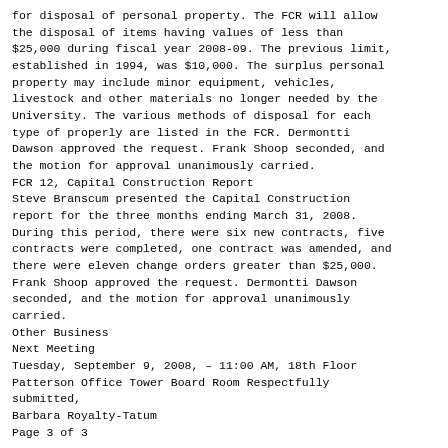for disposal of personal property. The FCR will allow the disposal of items having values of less than $25,000 during fiscal year 2008-09. The previous limit, established in 1994, was $10,000. The surplus personal property may include minor equipment, vehicles, livestock and other materials no longer needed by the University. The various methods of disposal for each type of properly are listed in the FCR. Dermontti Dawson approved the request. Frank Shoop seconded, and the motion for approval unanimously carried.
FCR 12, Capital Construction Report
Steve Branscum presented the Capital Construction report for the three months ending March 31, 2008. During this period, there were six new contracts, five contracts were completed, one contract was amended, and there were eleven change orders greater than $25,000. Frank Shoop approved the request. Dermontti Dawson seconded, and the motion for approval unanimously carried.
Other Business
Next Meeting
Tuesday, September 9, 2008, – 11:00 AM, 18th Floor Patterson Office Tower Board Room Respectfully submitted,
Barbara Royalty-Tatum
Page 3 of 3